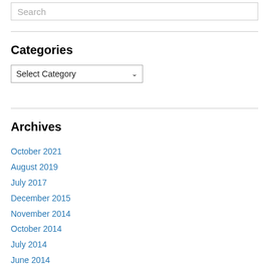Search
Categories
Select Category
Archives
October 2021
August 2019
July 2017
December 2015
November 2014
October 2014
July 2014
June 2014
May 2014
April 2014